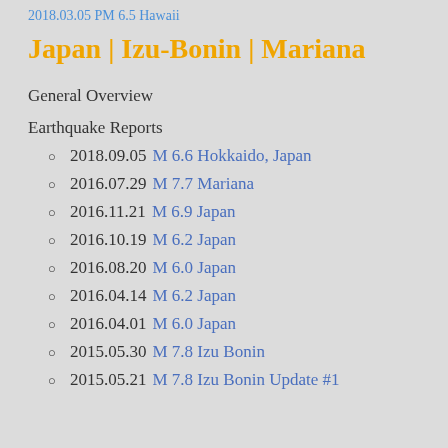2018.03.05 PM 6.5 Hawaii
Japan | Izu-Bonin | Mariana
General Overview
Earthquake Reports
2018.09.05 M 6.6 Hokkaido, Japan
2016.07.29 M 7.7 Mariana
2016.11.21 M 6.9 Japan
2016.10.19 M 6.2 Japan
2016.08.20 M 6.0 Japan
2016.04.14 M 6.2 Japan
2016.04.01 M 6.0 Japan
2015.05.30 M 7.8 Izu Bonin
2015.05.21 M 7.8 Izu Bonin Update #1